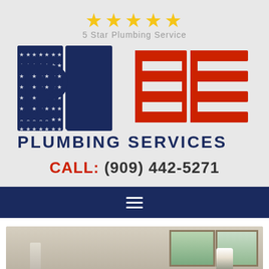[Figure (illustration): Five yellow star rating icons in a row]
5 Star Plumbing Service
[Figure (logo): Pride Plumbing Services logo with American flag themed lettering — dark blue stars-and-stripes styled letters P, R, I and red horizontal stripes for D and E, with PLUMBING SERVICES in bold navy below]
CALL: (909) 442-5271
[Figure (other): Dark navy navigation bar with hamburger menu icon (three horizontal white lines)]
[Figure (photo): Partial photo of a bathroom interior showing white cabinets, windows with green foliage outside, and white flowers in a vase on the counter]